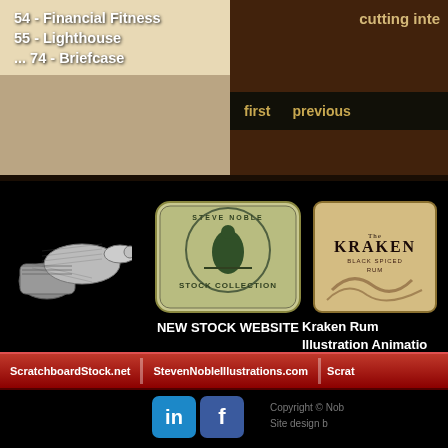54 - Financial Fitness
55 - Lighthouse
... 74 - Briefcase
cutting inte
first    previous
[Figure (illustration): Vintage scratchboard illustration of pointing hand/fist]
[Figure (logo): Steven Noble Stock Collection circular badge logo]
NEW STOCK WEBSITE
[Figure (logo): Kraken Black Spiced Rum label with tentacle]
Kraken Rum
Illustration Animation
ScratchboardStock.net  |  StevenNobleIllustrations.com  |  Scrat
[Figure (logo): LinkedIn icon]
[Figure (logo): Facebook icon]
Copyright © Nob
Site design b